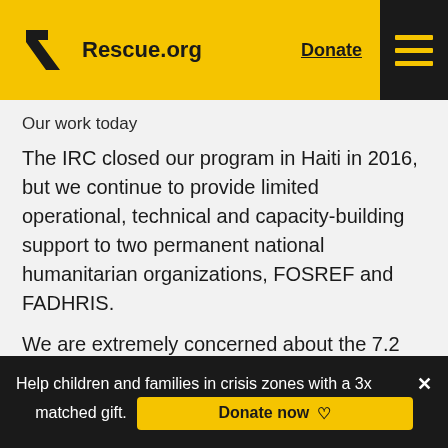Rescue.org — Donate
Our work today
The IRC closed our program in Haiti in 2016, but we continue to provide limited operational, technical and capacity-building support to two permanent national humanitarian organizations, FOSREF and FADHRIS.
We are extremely concerned about the 7.2 magnitude earthquake that struck Haiti on Aug. 14, 2021, and the subsequent humanitarian impact, and we are ready to
Help children and families in crisis zones with a 3x matched gift. Donate now ♡